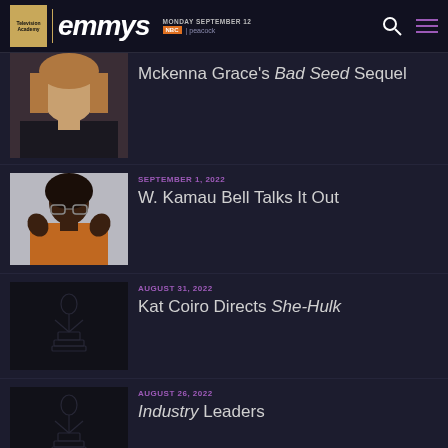Television Academy emmys MONDAY SEPTEMBER 12 NBC | peacock
Mckenna Grace's Bad Seed Sequel
SEPTEMBER 1, 2022
W. Kamau Bell Talks It Out
AUGUST 31, 2022
Kat Coiro Directs She-Hulk
AUGUST 26, 2022
Industry Leaders
AUGUST 25, 2022
Lucy DeVito Is the Devil's Advocate